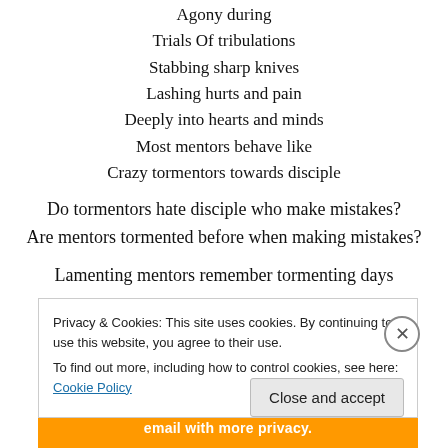Agony during
Trials Of tribulations
Stabbing sharp knives
Lashing hurts and pain
Deeply into hearts and minds
Most mentors behave like
Crazy tormentors towards disciple
Do tormentors hate disciple who make mistakes?
Are mentors tormented before when making mistakes?
Lamenting mentors remember tormenting days
Privacy & Cookies: This site uses cookies. By continuing to use this website, you agree to their use.
To find out more, including how to control cookies, see here: Cookie Policy
Close and accept
email with more privacy.